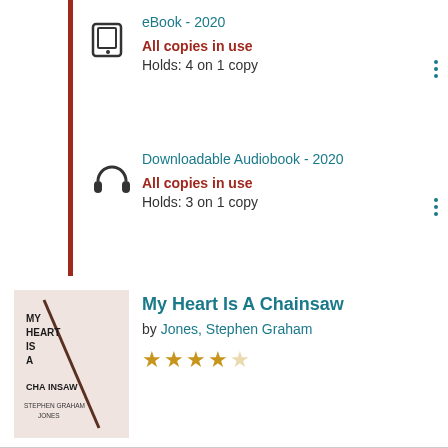[Figure (screenshot): Dark teal filter icon button (funnel/filter) in top left corner]
eBook - 2020 | All copies in use | Holds: 4 on 1 copy
Downloadable Audiobook - 2020 | All copies in use | Holds: 3 on 1 copy
My Heart Is A Chainsaw by Jones, Stephen Graham — 3.5 star rating
Large Print - 2022 | Large print edition. Available View details.